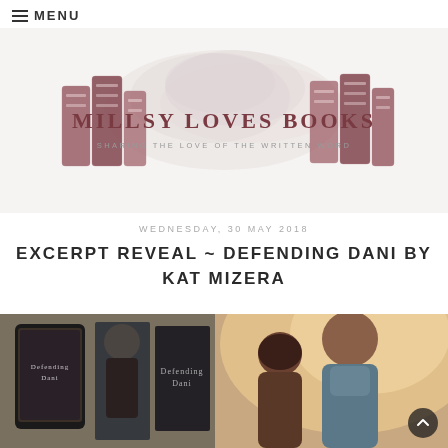≡ MENU
[Figure (logo): Millsy Loves Books blog logo with illustrated book stacks on left and right, decorative watercolor cloud background in center, text 'MILLSY LOVES BOOKS' and subtitle 'SHARING THE LOVE OF THE WRITTEN WORD']
WEDNESDAY, 30 MAY 2018
EXCERPT REVEAL ~ DEFENDING DANI BY KAT MIZERA
[Figure (photo): Book cover collage showing 'Defending Dani' by Kat Mizera — tablet/e-reader and paperback on left side, romantic couple close-up on right side with warm light flare effect]